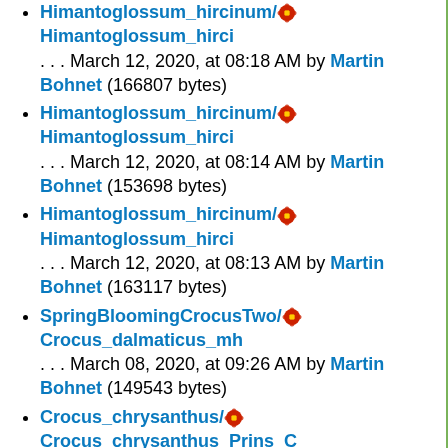Himantoglossum_hircinum/🌸Himantoglossum_hirci... March 12, 2020, at 08:18 AM by Martin Bohnet (166807 bytes)
Himantoglossum_hircinum/🌸Himantoglossum_hirci... March 12, 2020, at 08:14 AM by Martin Bohnet (153698 bytes)
Himantoglossum_hircinum/🌸Himantoglossum_hirci... March 12, 2020, at 08:13 AM by Martin Bohnet (163117 bytes)
SpringBloomingCrocusTwo/🌸Crocus_dalmaticus_mh... March 08, 2020, at 09:26 AM by Martin Bohnet (149543 bytes)
Crocus_chrysanthus/🌸Crocus_chrysanthus_Prins_C... March 08, 2020, at 09:18 AM by Martin Bohnet (172197 bytes)
Seemannia/🌸Seemannia_purpurascens_UU1.jpg ... March 05, 2020, at 02:35 PM by Johannes Ulrich Urban? (847217 bytes)
Seemannia/Seemannia_purpurascens_UU2.jpg △ ... March 05, 2020, at 02:28 PM by Johannes Ulrich Urban? (847217 bytes)